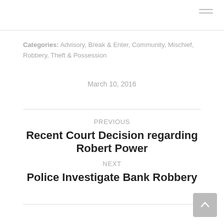Categories: Advisory, Break & Enter, Community, Mischief, Robbery, Theft & Possession
March 10, 2016
PREVIOUS
Recent Court Decision regarding Robert Power
NEXT
Police Investigate Bank Robbery